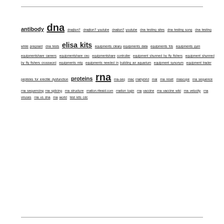antibody dna dnajlion7 dnajlion7 youtube dnalion7 youtube dna testing sites dna testing song dna testing while pregnant dna tests elisa kits equipments cleary equipments data equipments fds equipments gym equipmentshare careers equipmentshare ceo equipmentshare controller equipment shunned by fly fishers equipment shunned by fly fishers crossword equipments mtg equipments needed in building an aquarium equipment synonym equipment trader peptides for erectile dysfunction proteins rna rna-seq rnac rnahybrid rnai rna reset rnascope rna sequence rna sequencing rna splicing rna structure rnation.riteaid.com rnation login rna vaccine rna vaccine wiki rna velocity rna viruses rna vs dna rna world test kits cdc